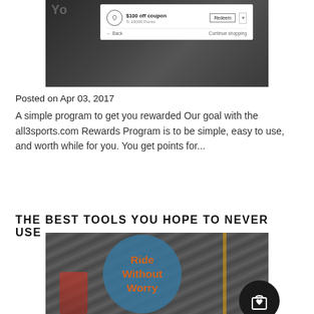[Figure (screenshot): Screenshot of a rewards coupon UI showing '$100 off coupon' with '10000 Points', a Redeem button, Back and Continue shopping links, overlaid on a dark background camera/bike parts image]
Posted on Apr 03, 2017
A simple program to get you rewarded Our goal with the all3sports.com Rewards Program is to be simple, easy to use, and worth while for you. You get points for...
THE BEST TOOLS YOU HOPE TO NEVER USE
[Figure (photo): Photo of cycling tools/equipment with a blue circle overlay reading 'Ride Without Worry' in orange text, and a dark shopping bag icon in the bottom right corner]